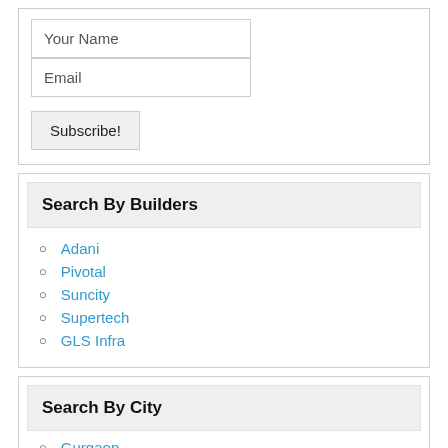[Figure (screenshot): Subscription form with Your Name and Email input fields and a Subscribe! button]
Search By Builders
Adani
Pivotal
Suncity
Supertech
GLS Infra
Search By City
Gurgaon